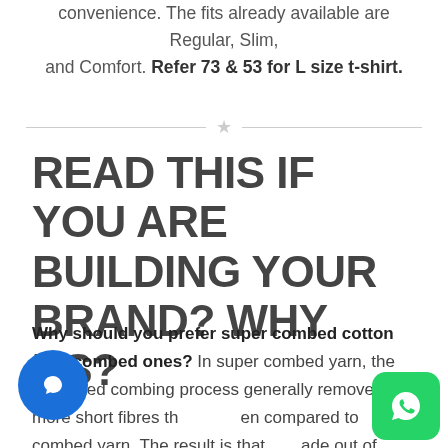convenience. The fits already available are Regular, Slim, and Comfort. Refer 73 & 53 for L size t-shirt.
READ THIS IF YOU ARE BUILDING YOUR BRAND? WHY US?
Why should you prefer super combed cotton over combed ones? In super combed yarn, the Repeated combing process generally removes more short fibres than compared to combed yarn. The result is that fabric made out of super combed yarn comes with fewer impurities & great strength providing dimensional stability